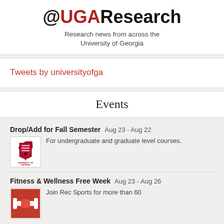@UGAResearch
Research news from across the University of Georgia
Tweets by universityofga
Events
Drop/Add for Fall Semester   Aug 23 - Aug 22
For undergraduate and graduate level courses.
Fitness & Wellness Free Week   Aug 23 - Aug 26
Join Rec Sports for more than 60